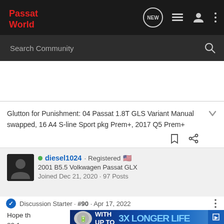Passat World
Search Community
Glutton for Punishment: 04 Passat 1.8T GLS Variant Manual swapped, 16 A4 S-line Sport pkg Prem+, 2017 Q5 Prem+
diesel1024 · Registered
2001 B5.5 Volkwagen Passat GLX
Joined Dec 21, 2020 · 97 Posts
Discussion Starter · #90 · Apr 17, 2022
Hope th… olt is 22.1 m… to get